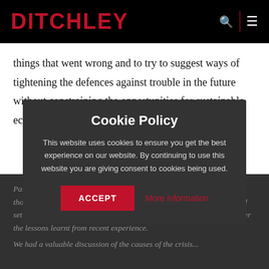DITCHLEY
things that went wrong and to try to suggest ways of tightening the defences against trouble in the future without constraining the opportunities for sustainable economic growth and dynamic business activity.
Participants agreed with the maxim that no crisis should be wasted, though we all had our doubts that such a global synchronised and rapid set of events could ever be efficiently addressed internationally, whatever the lessons learnt from recent experience.
Cookie Policy
This website uses cookies to ensure you get the best experience on our website. By continuing to use this website you are giving consent to cookies being used.
ACCEPT
More information
We had a valuable discussion of the causes of the crisis...